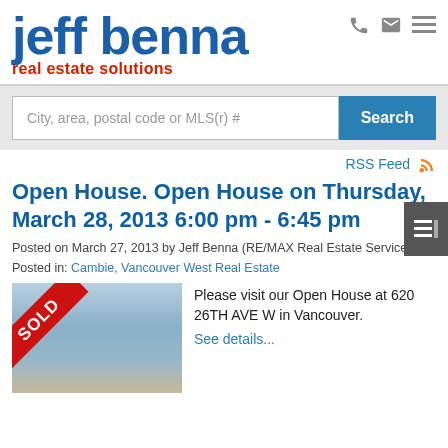[Figure (logo): Jeff Benna Real Estate Solutions logo in blue and red]
[Figure (screenshot): Search bar with placeholder text and Search button]
RSS Feed
Open House. Open House on Thursday, March 28, 2013 6:00 pm - 6:45 pm
Posted on March 27, 2013 by Jeff Benna (RE/MAX Real Estate Services)
Posted in: Cambie, Vancouver West Real Estate
[Figure (photo): Property photo with SOLD ribbon in red]
Please visit our Open House at 620 26TH AVE W in Vancouver.
See details...